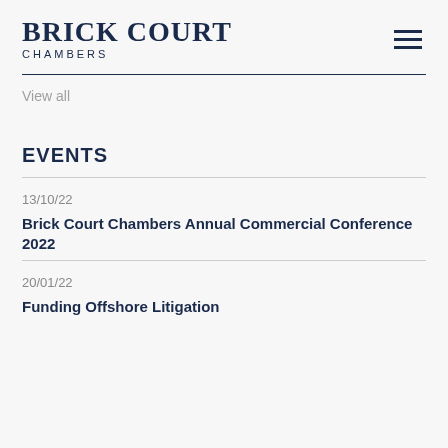BRICK COURT CHAMBERS
View all
EVENTS
13/10/22
Brick Court Chambers Annual Commercial Conference 2022
20/01/22
Funding Offshore Litigation